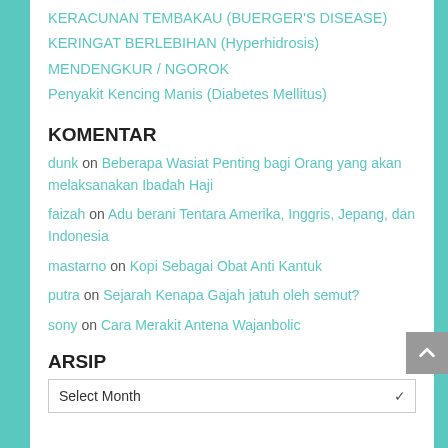KERACUNAN TEMBAKAU (BUERGER'S DISEASE)
KERINGAT BERLEBIHAN (Hyperhidrosis)
MENDENGKUR / NGOROK
Penyakit Kencing Manis (Diabetes Mellitus)
KOMENTAR
dunk on Beberapa Wasiat Penting bagi Orang yang akan melaksanakan Ibadah Haji
faizah on Adu berani Tentara Amerika, Inggris, Jepang, dan Indonesia
mastarno on Kopi Sebagai Obat Anti Kantuk
putra on Sejarah Kenapa Gajah jatuh oleh semut?
sony on Cara Merakit Antena Wajanbolic
ARSIP
Select Month